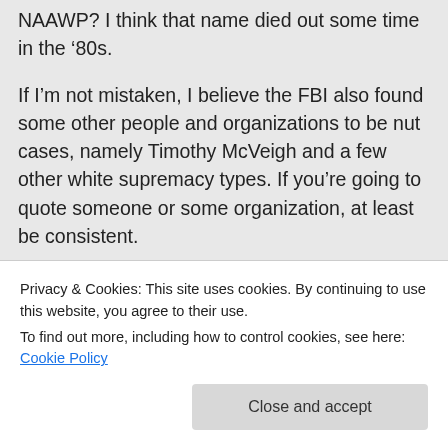NAAWP? I think that name died out some time in the ‘80s.
If I’m not mistaken, I believe the FBI also found some other people and organizations to be nut cases, namely Timothy McVeigh and a few other white supremacy types. If you’re going to quote someone or some organization, at least be consistent.
By your rant, you only underscore the very point we’re trying to make in our blog and most superficial of the superficial by
Privacy & Cookies: This site uses cookies. By continuing to use this website, you agree to their use.
To find out more, including how to control cookies, see here: Cookie Policy
Close and accept